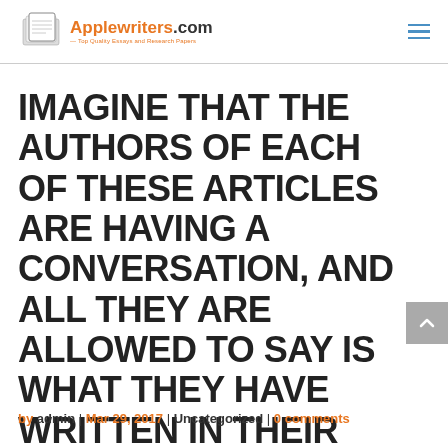Applewriters.com — Top Quality Essays and Research Papers
IMAGINE THAT THE AUTHORS OF EACH OF THESE ARTICLES ARE HAVING A CONVERSATION, AND ALL THEY ARE ALLOWED TO SAY IS WHAT THEY HAVE WRITTEN IN THEIR ARTICLE
by admin | Mar 29, 2017 | Uncategorized | 0 comments